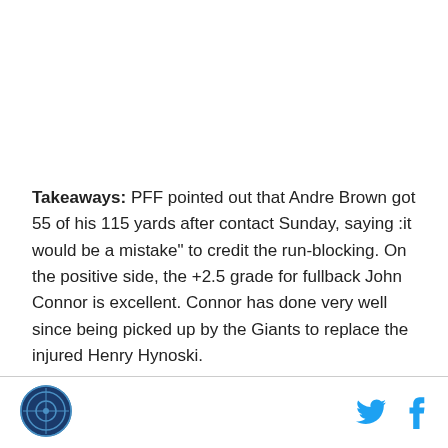Takeaways: PFF pointed out that Andre Brown got 55 of his 115 yards after contact Sunday, saying :it would be a mistake" to credit the run-blocking. On the positive side, the +2.5 grade for fullback John Connor is excellent. Connor has done very well since being picked up by the Giants to replace the injured Henry Hynoski.
[Figure (logo): Circular logo with crosshair/target design in blue and white]